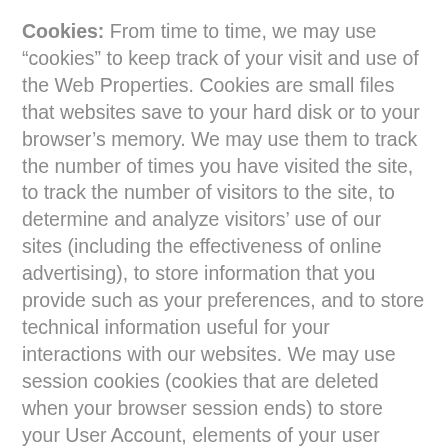Cookies: From time to time, we may use “cookies” to keep track of your visit and use of the Web Properties. Cookies are small files that websites save to your hard disk or to your browser’s memory. We may use them to track the number of times you have visited the site, to track the number of visitors to the site, to determine and analyze visitors’ use of our sites (including the effectiveness of online advertising), to store information that you provide such as your preferences, and to store technical information useful for your interactions with our websites. We may use session cookies (cookies that are deleted when your browser session ends) to store your User Account, elements of your user profile, to